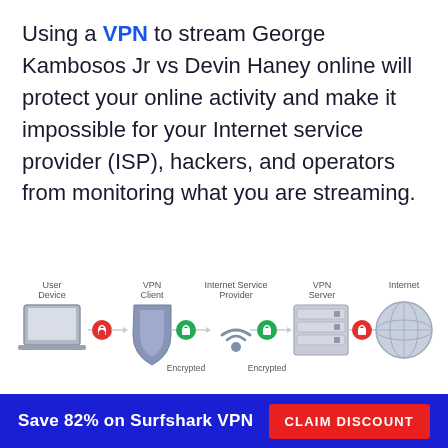Using a VPN to stream George Kambosos Jr vs Devin Haney online will protect your online activity and make it impossible for your Internet service provider (ISP), hackers, and operators from monitoring what you are streaming.
[Figure (infographic): VPN network diagram showing: User Device (laptop) → red lock icon → VPN Client (shield) → green lock 'Encrypted' → Internet Service Provider (wifi symbol) → green lock 'Encrypted' → VPN Server (server rack) → red lock icon → Internet (globe). Label 'VPN' below.]
Save 82% on Surfshark VPN   CLAIM DISCOUNT